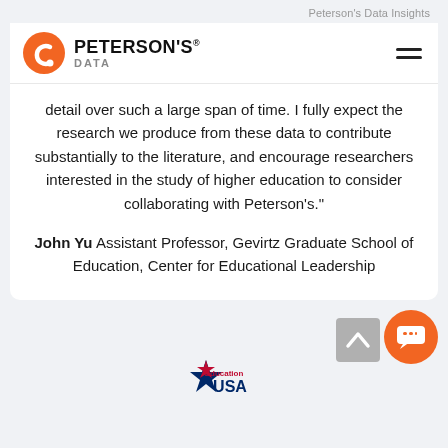Peterson's Data Insights
[Figure (logo): Peterson's Data logo with orange circular icon and bold text]
detail over such a large span of time. I fully expect the research we produce from these data to contribute substantially to the literature, and encourage researchers interested in the study of higher education to consider collaborating with Peterson’s.”
John Yu Assistant Professor, Gevirtz Graduate School of Education, Center for Educational Leadership
[Figure (logo): Education USA logo at bottom center]
[Figure (other): Scroll-to-top button (grey square with up caret) and orange chat button]